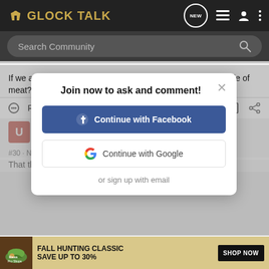Glock Talk
Search Community
If we are not supposed to eat animals,then why are they made of meat?
Reply   Quote
Join now to ask and comment!
Continue with Facebook
Continue with Google
or sign up with email
usmc0341 · Registered
Joined Mar 22, 2007 · 234 Posts
#30 · Nov 3, 2008
That thing is cool!!
[Figure (screenshot): Bass Pro Shops Fall Hunting Classic ad banner: FALL HUNTING CLASSIC SAVE UP TO 30% with SHOP NOW button]